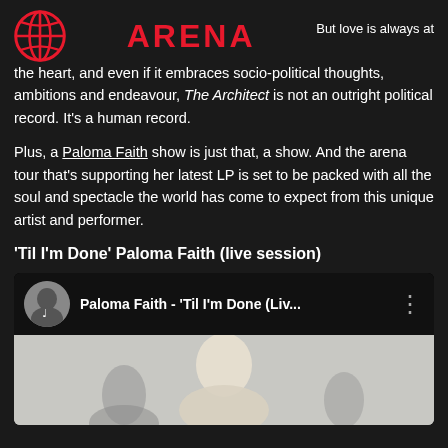ARENA
But love is always at the heart, and even if it embraces socio-political thoughts, ambitions and endeavour, The Architect is not an outright political record. It's a human record.
Plus, a Paloma Faith show is just that, a show. And the arena tour that's supporting her latest LP is set to be packed with all the soul and spectacle the world has come to expect from this unique artist and performer.
'Til I'm Done' Paloma Faith (live session)
[Figure (screenshot): YouTube video embed showing Paloma Faith - 'Til I'm Done (Liv... with thumbnail of performer]